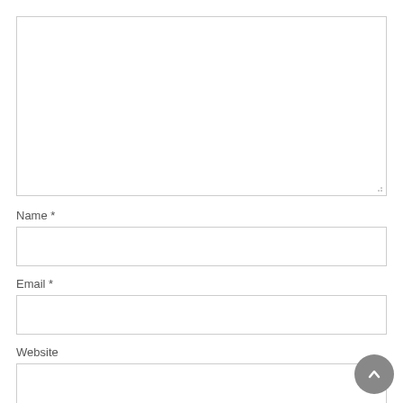[Figure (screenshot): Large textarea input field with resize handle at bottom right corner]
Name *
[Figure (screenshot): Single-line text input field for Name]
Email *
[Figure (screenshot): Single-line text input field for Email]
Website
[Figure (screenshot): Single-line text input field for Website, partially visible at bottom]
[Figure (other): Circular dark gray scroll-to-top button with upward chevron arrow, positioned at bottom right]